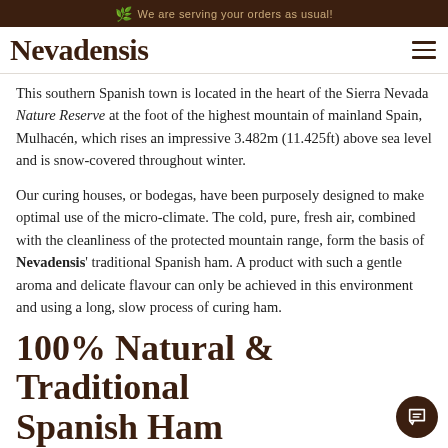We are serving your orders as usual!
Nevadensis
This southern Spanish town is located in the heart of the Sierra Nevada Nature Reserve at the foot of the highest mountain of mainland Spain, Mulhacén, which rises an impressive 3.482m (11.425ft) above sea level and is snow-covered throughout winter.
Our curing houses, or bodegas, have been purposely designed to make optimal use of the micro-climate. The cold, pure, fresh air, combined with the cleanliness of the protected mountain range, form the basis of Nevadensis' traditional Spanish ham. A product with such a gentle aroma and delicate flavour can only be achieved in this environment and using a long, slow process of curing ham.
100% Natural & Traditional Spanish Ham